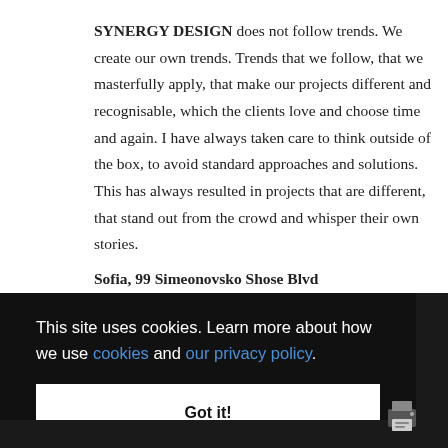SYNERGY DESIGN does not follow trends. We create our own trends. Trends that we follow, that we masterfully apply, that make our projects different and recognisable, which the clients love and choose time and again. I have always taken care to think outside of the box, to avoid standard approaches and solutions. This has always resulted in projects that are different, that stand out from the crowd and whisper their own stories.
Sofia, 99 Simeonovsko Shose Blvd
This site uses cookies. Learn more about how we use cookies and our privacy policy.
Got it!